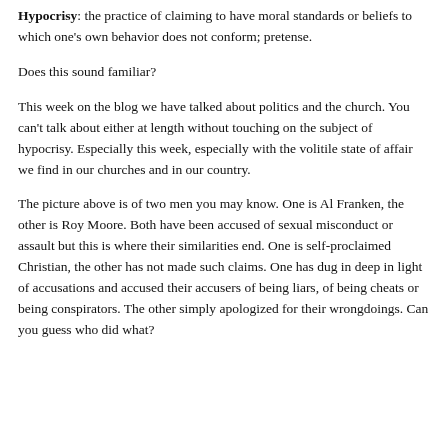Hypocrisy: the practice of claiming to have moral standards or beliefs to which one's own behavior does not conform; pretense.
Does this sound familiar?
This week on the blog we have talked about politics and the church. You can't talk about either at length without touching on the subject of hypocrisy. Especially this week, especially with the volitile state of affair we find in our churches and in our country.
The picture above is of two men you may know. One is Al Franken, the other is Roy Moore. Both have been accused of sexual misconduct or assault but this is where their similarities end. One is self-proclaimed Christian, the other has not made such claims. One has dug in deep in light of accusations and accused their accusers of being liars, of being cheats or being conspirators. The other simply apologized for their wrongdoings. Can you guess who did what?